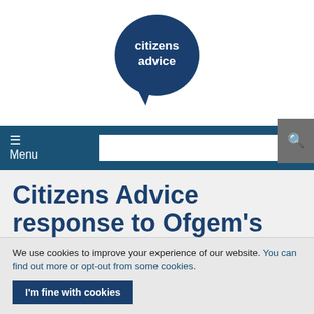[Figure (logo): Citizens Advice logo — dark navy blue speech bubble circle with white bold text 'citizens advice' centred inside]
Menu  [search bar]  [search button]
Citizens Advice response to Ofgem's final proposals on self-disconnection
We use cookies to improve your experience of our website. You can find out more or opt-out from some cookies.
I'm fine with cookies